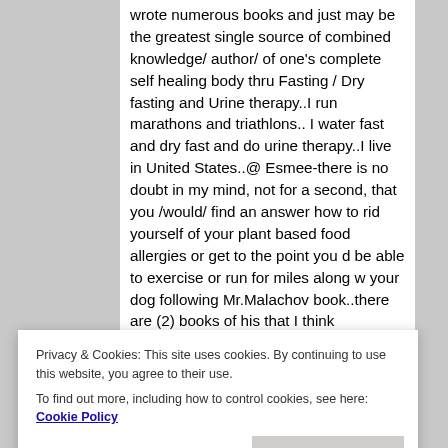wrote numerous books and just may be the greatest single source of combined knowledge/ author/ of one's complete self healing body thru Fasting / Dry fasting and Urine therapy..I run marathons and triathlons.. I water fast and dry fast and do urine therapy..I live in United States..@ Esmee-there is no doubt in my mind, not for a second, that you /would/ find an answer how to rid yourself of your plant based food allergies or get to the point you d be able to exercise or run for miles along w your dog following Mr.Malachov book..there are (2) books of his that I think
Privacy & Cookies: This site uses cookies. By continuing to use this website, you agree to their use.
To find out more, including how to control cookies, see here: Cookie Policy
cancer patients that were aborted by their